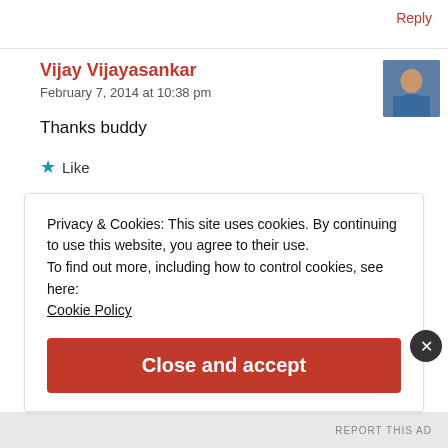Reply
Vijay Vijayasankar
February 7, 2014 at 10:38 pm
[Figure (photo): Avatar photo of Vijay Vijayasankar, a man in a blue shirt]
Thanks buddy
★ Like
Privacy & Cookies: This site uses cookies. By continuing to use this website, you agree to their use.
To find out more, including how to control cookies, see here:
Cookie Policy
Close and accept
REPORT THIS AD